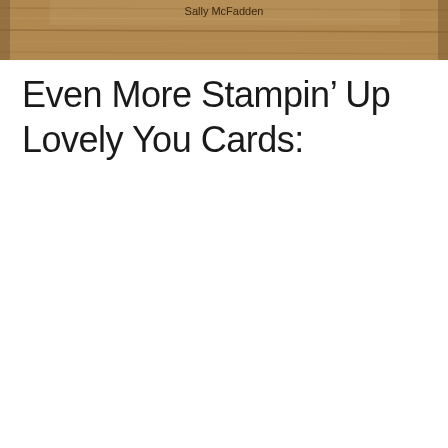[Figure (photo): A wooden surface banner image with text 'Sally McFadden' overlaid, showing a rustic wood plank background in brown tones.]
Even More Stampin’ Up Lovely You Cards: